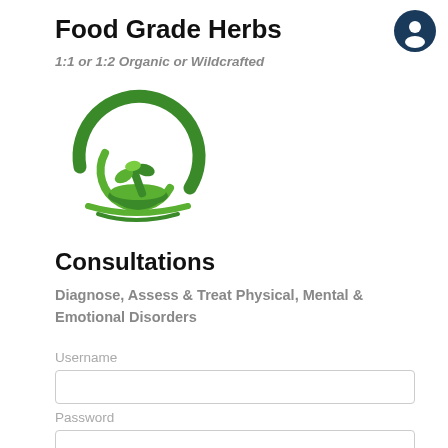Food Grade Herbs
1:1 or 1:2 Organic or Wildcrafted
[Figure (logo): Green crescent moon with mortar and pestle herb logo]
Consultations
Diagnose, Assess & Treat Physical, Mental & Emotional Disorders
Username
Password